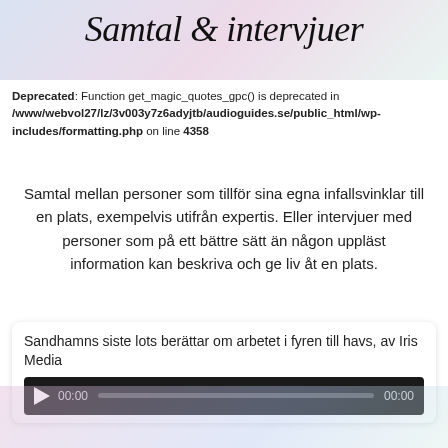Samtal & intervjuer
Deprecated: Function get_magic_quotes_gpc() is deprecated in /www/webvol27/lz/3v003y7z6adyjtb/audioguides.se/public_html/wp-includes/formatting.php on line 4358
Samtal mellan personer som tillför sina egna infallsvinklar till en plats, exempelvis utifrån expertis. Eller intervjuer med personer som på ett bättre sätt än någon uppläst information kan beskriva och ge liv åt en plats.
Sandhamns siste lots berättar om arbetet i fyren till havs, av Iris Media
[Figure (screenshot): Audio player with play button, time 00:00, progress bar, and end time 00:00 on dark background]